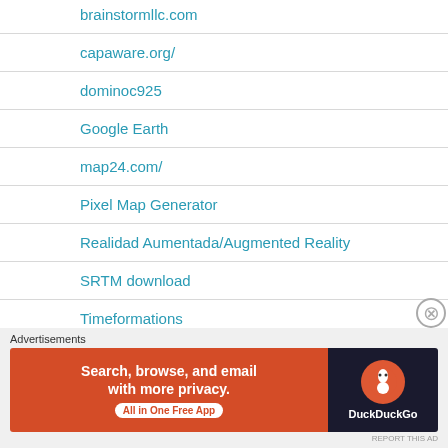brainstormllc.com
capaware.org/
dominoc925
Google Earth
map24.com/
Pixel Map Generator
Realidad Aumentada/Augmented Reality
SRTM download
Timeformations
Advertisements
[Figure (other): DuckDuckGo advertisement banner: Search, browse, and email with more privacy. All in One Free App. Shows DuckDuckGo logo on dark background.]